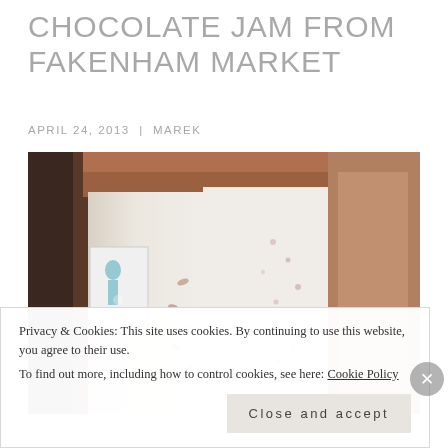CHOCOLATE JAM FROM FAKENHAM MARKET
APRIL 24, 2013 | MAREK
[Figure (photo): Interior room photo showing a white folding screen or room divider with decorative patterns, a wall-mounted artwork on the left showing a blue figure, wooden ceiling visible at top, dark doorframe on the far left, wooden shelving on the right.]
Privacy & Cookies: This site uses cookies. By continuing to use this website, you agree to their use.
To find out more, including how to control cookies, see here: Cookie Policy
Close and accept